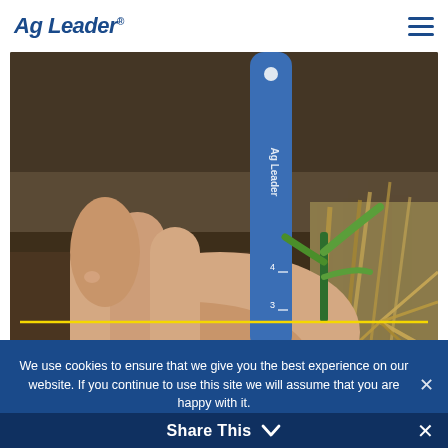Ag Leader®
[Figure (photo): A hand holding a blue Ag Leader branded ruler/measuring stick next to a small corn seedling growing in soil with crop residue. A yellow horizontal line is overlaid at the base of the plant showing planting depth measurement.]
We use cookies to ensure that we give you the best experience on our website. If you continue to use this site we will assume that you are happy with it.
Ok
Share This